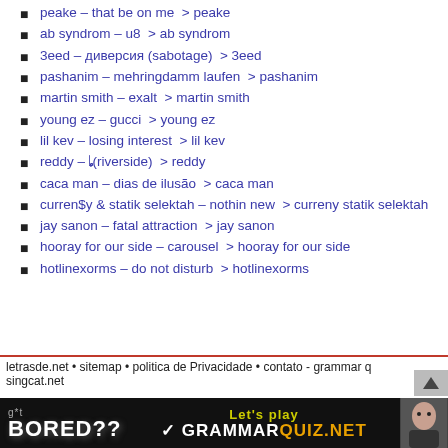peake – that be on me > peake
ab syndrom – u8 > ab syndrom
3eed – диверсия (sabotage) > 3eed
pashanim – mehringdamm laufen > pashanim
martin smith – exalt > martin smith
young ez – gucci > young ez
lil kev – losing interest > lil kev
reddy – 🎵🎵🎵🎵 (riverside) > reddy
caca man – dias de ilusão > caca man
curren$y & statik selektah – nothin new > curreny statik selektah
jay sanon – fatal attraction > jay sanon
hooray for our side – carousel > hooray for our side
hotlinexorms – do not disturb > hotlinexorms
letrasde.net • sitemap • politica de Privacidade • contato - grammar q
singcat.net
[Figure (infographic): Ad banner: 'g*t BORED?? Let's play GRAMMARQUIZ.NET' on black background with person image on right]